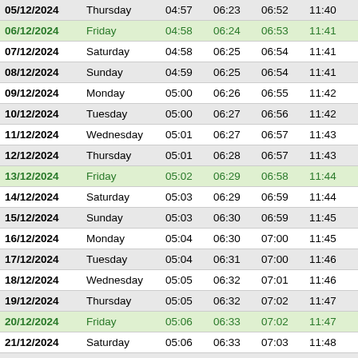| Date | Day | Col3 | Col4 | Col5 | Col6 | Col7 |
| --- | --- | --- | --- | --- | --- | --- |
| 05/12/2024 | Thursday | 04:57 | 06:23 | 06:52 | 11:40 | 1 |
| 06/12/2024 | Friday | 04:58 | 06:24 | 06:53 | 11:41 | 1 |
| 07/12/2024 | Saturday | 04:58 | 06:25 | 06:54 | 11:41 | 1 |
| 08/12/2024 | Sunday | 04:59 | 06:25 | 06:54 | 11:41 | 1 |
| 09/12/2024 | Monday | 05:00 | 06:26 | 06:55 | 11:42 | 1 |
| 10/12/2024 | Tuesday | 05:00 | 06:27 | 06:56 | 11:42 | 1 |
| 11/12/2024 | Wednesday | 05:01 | 06:27 | 06:57 | 11:43 | 1 |
| 12/12/2024 | Thursday | 05:01 | 06:28 | 06:57 | 11:43 | 1 |
| 13/12/2024 | Friday | 05:02 | 06:29 | 06:58 | 11:44 | 1 |
| 14/12/2024 | Saturday | 05:03 | 06:29 | 06:59 | 11:44 | 1 |
| 15/12/2024 | Sunday | 05:03 | 06:30 | 06:59 | 11:45 | 1 |
| 16/12/2024 | Monday | 05:04 | 06:30 | 07:00 | 11:45 | 1 |
| 17/12/2024 | Tuesday | 05:04 | 06:31 | 07:00 | 11:46 | 1 |
| 18/12/2024 | Wednesday | 05:05 | 06:32 | 07:01 | 11:46 | 1 |
| 19/12/2024 | Thursday | 05:05 | 06:32 | 07:02 | 11:47 | 1 |
| 20/12/2024 | Friday | 05:06 | 06:33 | 07:02 | 11:47 | 1 |
| 21/12/2024 | Saturday | 05:06 | 06:33 | 07:03 | 11:48 | 1 |
| 22/12/2024 | Sunday | 05:07 | 06:34 | 07:03 | 11:48 | 1 |